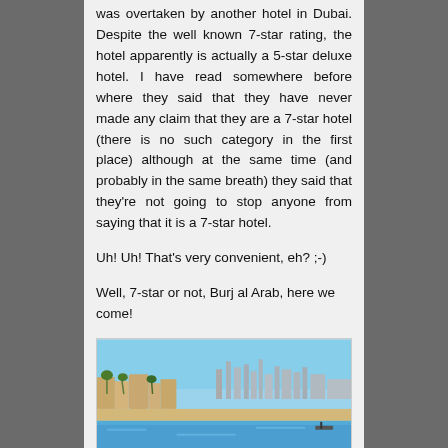was overtaken by another hotel in Dubai. Despite the well known 7-star rating, the hotel apparently is actually a 5-star deluxe hotel. I have read somewhere before where they said that they have never made any claim that they are a 7-star hotel (there is no such category in the first place) although at the same time (and probably in the same breath) they said that they're not going to stop anyone from saying that it is a 7-star hotel.
Uh! Uh! That's very convenient, eh? ;-)
Well, 7-star or not, Burj al Arab, here we come!
[Figure (photo): Coastal skyline photo showing a beach with blue water in the foreground, palm trees and resort buildings on the left, and a city skyline with tall buildings in the background under a blue sky.]